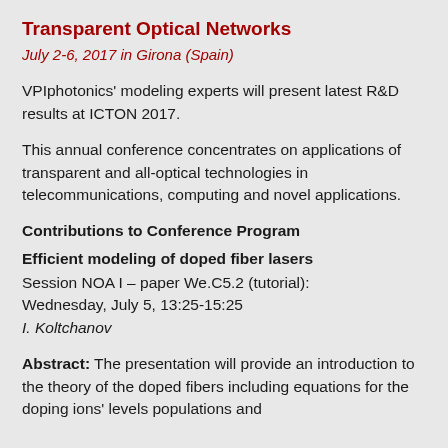Transparent Optical Networks
July 2-6, 2017 in Girona (Spain)
VPIphotonics' modeling experts will present latest R&D results at ICTON 2017.
This annual conference concentrates on applications of transparent and all-optical technologies in telecommunications, computing and novel applications.
Contributions to Conference Program
Efficient modeling of doped fiber lasers
Session NOA I – paper We.C5.2 (tutorial):
Wednesday, July 5, 13:25-15:25
I. Koltchanov
Abstract: The presentation will provide an introduction to the theory of the doped fibers including equations for the doping ions' levels populations and